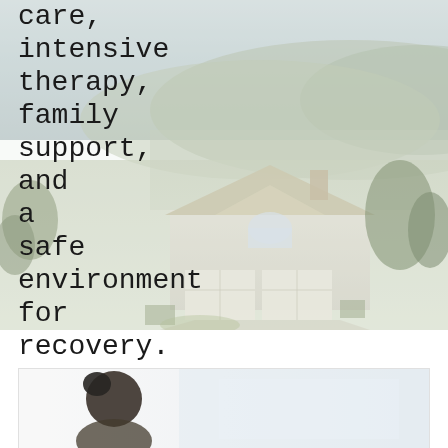[Figure (photo): Aerial/elevated view of a suburban residential home with a two-car garage, tile roof, and surrounding trees, with hills and a valley in the background. Image has a pale, washed-out tone.]
care, intensive therapy, family support, and a safe environment for recovery.
[Figure (photo): Partial view of a person (seen from behind/side, with dark hair in a bun) in what appears to be a clinical or indoor setting with a light background.]